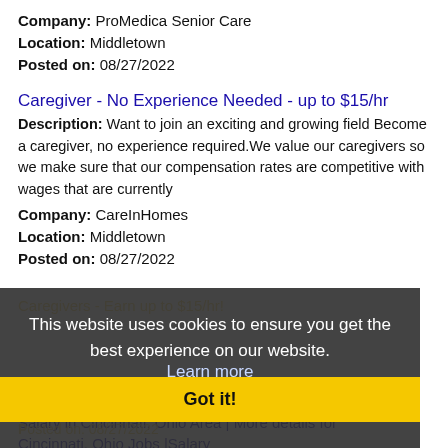Company: ProMedica Senior Care
Location: Middletown
Posted on: 08/27/2022
Caregiver - No Experience Needed - up to $15/hr
Description: Want to join an exciting and growing field Become a caregiver, no experience required.We value our caregivers so we make sure that our compensation rates are competitive with wages that are currently
Company: CareInHomes
Location: Middletown
Posted on: 08/27/2022
Caregivers - Earn up to $15/hr!
Description: [overlay] becoming a caregiver, no level experience required, make sure that our compensation rates are competitive with wages that are currently being offered
Company: CareInHomes
Location: Middletown
Posted on: 08/27/2022
This website uses cookies to ensure you get the best experience on our website.
Learn more
Got it!
Salary in Cincinnati, Ohio Area | More details for Cincinnati, Ohio Jobs |Salary